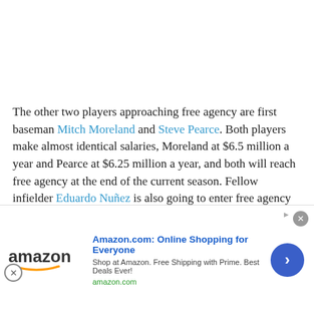The other two players approaching free agency are first baseman Mitch Moreland and Steve Pearce. Both players make almost identical salaries, Moreland at $6.5 million a year and Pearce at $6.25 million a year, and both will reach free agency at the end of the current season. Fellow infielder Eduardo Nuñez is also going to enter free agency after the current season. With many of the infielder's [contracts set to expir]se, a good performance in
[Figure (photo): Partial photo strip of baseball players visible behind ad overlay]
Amazon.com: Online Shopping for Everyone
Shop at Amazon. Free Shipping with Prime. Best Deals Ever!
amazon.com